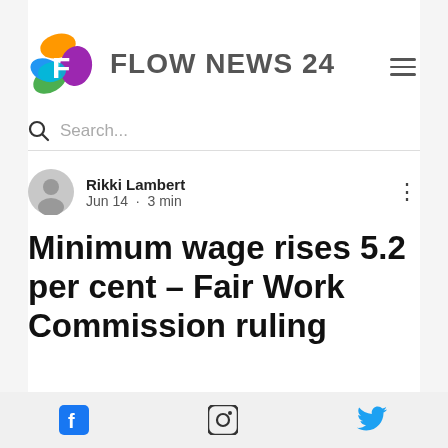[Figure (logo): Flow News 24 colorful swirl logo with letter F, followed by FLOW NEWS 24 text]
Search...
Rikki Lambert
Jun 14  ·  3 min
Minimum wage rises 5.2 per cent – Fair Work Commission ruling
[Figure (infographic): Social media footer bar with Facebook, Instagram, and Twitter icons]